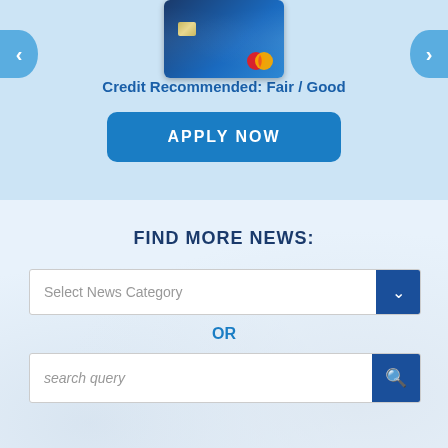[Figure (screenshot): Credit card image showing a dark blue Mastercard with chip, partially cropped at top]
Credit Recommended: Fair / Good
APPLY NOW
FIND MORE NEWS:
Select News Category
OR
search query